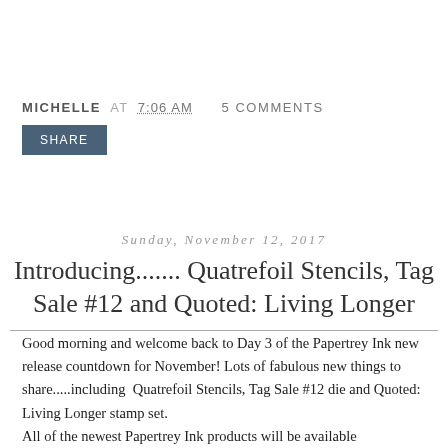MICHELLE AT 7:06 AM   5 COMMENTS
SHARE
Sunday, November 12, 2017
Introducing....... Quatrefoil Stencils, Tag Sale #12 and Quoted: Living Longer
Good morning and welcome back to Day 3 of the Papertrey Ink new release countdown for November! Lots of fabulous new things to share.....including  Quatrefoil Stencils, Tag Sale #12 die and Quoted: Living Longer stamp set.
All of the newest Papertrey Ink products will be available